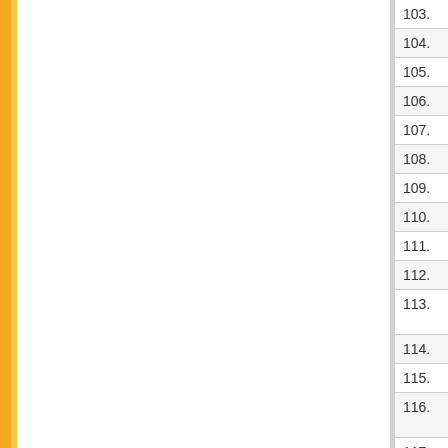| # | Date | Subject |
| --- | --- | --- |
| 103. | 16/04/2018 | ATTENDANC... |
| 104. | 08/03/2018 | ATTENDANC... |
| 105. | 08/03/2018 | ATTENDANC... |
| 106. | 26/10/2017 | ATTENDANC... |
| 107. | 26/10/2017 | ATTENDANC... |
| 108. | 15/09/2017 | ATTENDANC... |
| 109. | 15/09/2017 | ATTENDANC... |
| 110. | 15/09/2017 | ATTENDANC... |
| 111. | 14/08/2017 | ATTENDANC... |
| 112. | 14/08/2017 | ATTENDANC... |
| 113. | 05/08/2017 | SEMESTER... 2017 AT 11A... |
| 114. | 05/08/2017 | No vacant se... |
| 115. | 02/08/2017 | FEE CODE ... |
| 116. | 02/08/2017 | FINAL MERI... DETAIL) |
| 117. | 24/07/2017 | Subject: Quo... specification... |